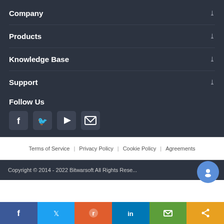Company
Products
Knowledge Base
Support
Follow Us
[Figure (other): Social media icons: Facebook, Twitter, YouTube, Email]
Terms of Service | Privacy Policy | Cookie Policy | Agreements
Copyright © 2014 - 2022 Bitwarsoft All Rights Reserved
[Figure (other): Share bar with Facebook, Twitter, Reddit, LinkedIn, Mail, Share icons]